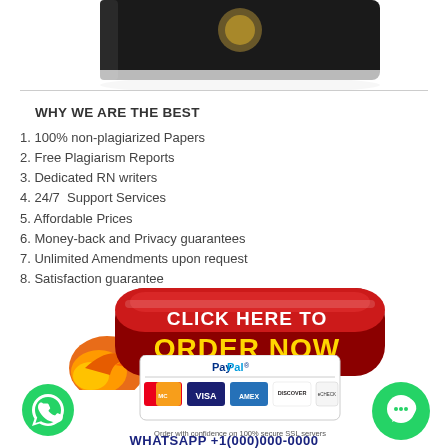[Figure (photo): Partial image of a dark-colored book or device at the top of the page]
WHY WE ARE THE BEST
1. 100% non-plagiarized Papers
2. Free Plagiarism Reports
3. Dedicated RN writers
4. 24/7  Support Services
5. Affordable Prices
6. Money-back and Privacy guarantees
7. Unlimited Amendments upon request
8. Satisfaction guarantee
[Figure (illustration): Red rounded-rectangle button with text 'CLICK HERE TO ORDER NOW' in white and gold, with an orange arrow/flame decoration]
[Figure (illustration): PayPal payment badges showing MasterCard, VISA, AMEX, Discover, eCheck with text 'Order with confidence on 100% secure SSL servers']
[Figure (logo): Green WhatsApp circle icon on the bottom left]
[Figure (logo): Green chat/messenger circle icon on the bottom right]
WHATSAPP +1(000)000-0000